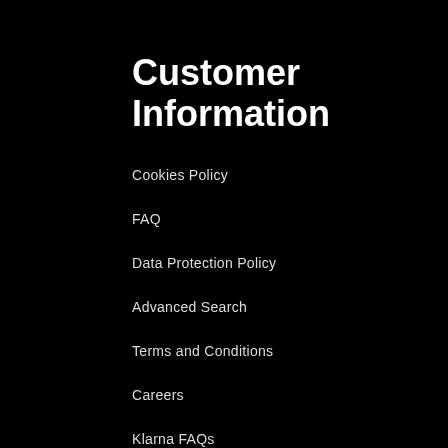Customer Information
Cookies Policy
FAQ
Data Protection Policy
Advanced Search
Terms and Conditions
Careers
Klarna FAQs